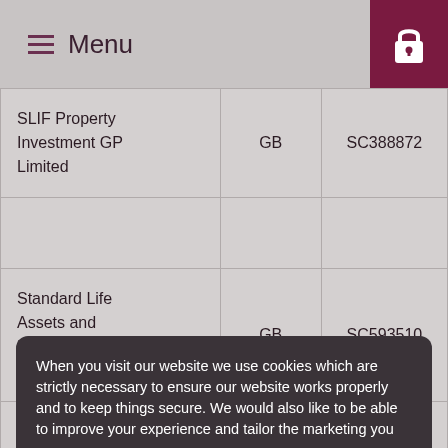Menu
| SLIF Property Investment GP Limited | GB | SC388872 |
|  |  |  |
| Standard Life Assets and Employee Services Limited | GB | SC593510 |
| Standard Life Assurance (HWPF) | LI | R186108 |
When you visit our website we use cookies which are strictly necessary to ensure our website works properly and to keep things secure. We would also like to be able to improve your experience and tailor the marketing you see.
Manage cookies... | Decline all | Accept all